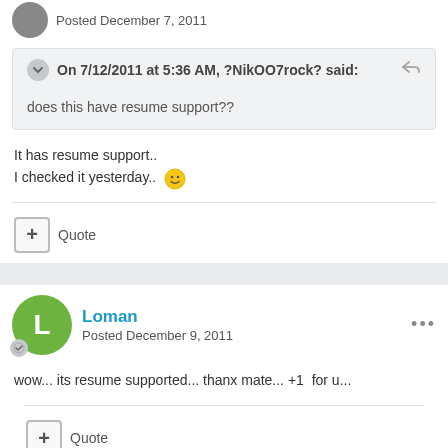Posted December 7, 2011
On 7/12/2011 at 5:36 AM, ?NikOO7rock? said:
does this have resume support??
It has resume support..
I checked it yesterday.. 🙂
Quote
Loman
Posted December 9, 2011
wow... its resume supported... thanx mate... +1  for u...
Quote